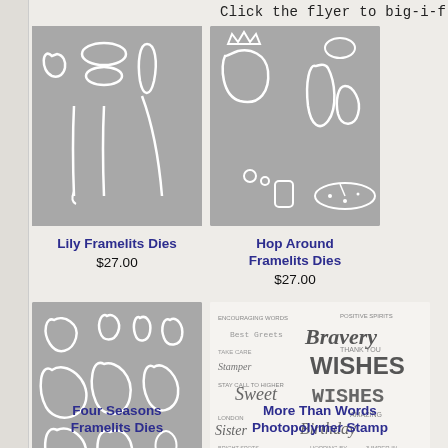Click the flyer to big-i-f
[Figure (photo): Lily Framelits Dies product image showing die cut shapes of lily flower stems and petals on gray background]
[Figure (photo): Hop Around Framelits Dies product image showing die cut frog and pond-related shapes on gray background]
Lily Framelits Dies
$27.00
Hop Around Framelits Dies
$27.00
[Figure (photo): Four Seasons Framelits Dies product image showing die cut leaf and flower shapes arranged in a grid on gray background]
[Figure (photo): More Than Words Photopolymer Stamp product image showing a stamp sheet with various words and phrases including Bravery, WISHES, Sweet, Birthday, Christmas, Sister, Sprinkles on white background]
Four Seasons Framelits Dies
More Than Words Photopolymer Stamp